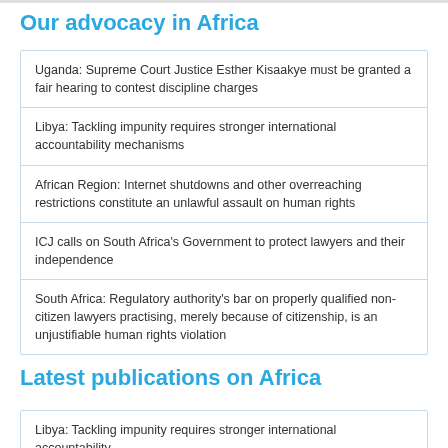Our advocacy in Africa
Uganda: Supreme Court Justice Esther Kisaakye must be granted a fair hearing to contest discipline charges
Libya: Tackling impunity requires stronger international accountability mechanisms
African Region: Internet shutdowns and other overreaching restrictions constitute an unlawful assault on human rights
ICJ calls on South Africa's Government to protect lawyers and their independence
South Africa: Regulatory authority's bar on properly qualified non-citizen lawyers practising, merely because of citizenship, is an unjustifiable human rights violation
Latest publications on Africa
Libya: Tackling impunity requires stronger international accountability